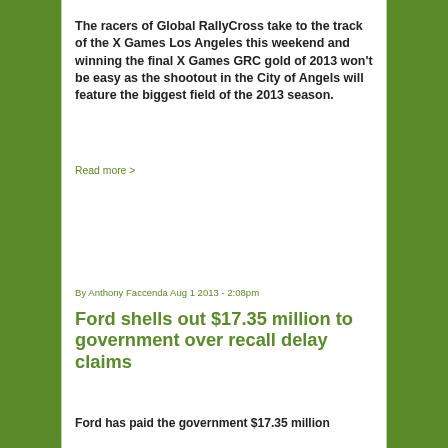The racers of Global RallyCross take to the track of the X Games Los Angeles this weekend and winning the final X Games GRC gold of 2013 won't be easy as the shootout in the City of Angels will feature the biggest field of the 2013 season.
Read more >
By Anthony Faccenda Aug 1 2013 - 2:08pm
Ford shells out $17.35 million to government over recall delay claims
Ford has paid the government $17.35 million